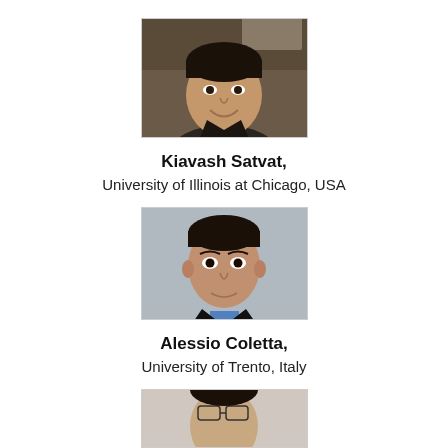[Figure (photo): Headshot photo of Kiavash Satvat, a young man with dark hair in a casual setting]
Kiavash Satvat,
University of Illinois at Chicago, USA
[Figure (photo): Professional headshot photo of Alessio Coletta, a man in a suit with blue shirt against gray background]
Alessio Coletta,
University of Trento, Italy
[Figure (photo): Headshot photo of a third person, partially visible at bottom of page]